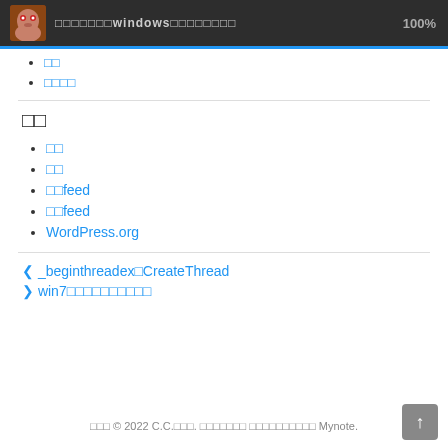□□□□□□□windows□□□□□□□□  100%
□□
□□□□
□□
□□
□□
□□feed
□□feed
WordPress.org
❮ _beginthreadex□CreateThread
❯ win7□□□□□□□□□□
□□□ © 2022 C.C.□□□. □□□□□□□ □□□□□□□□□□ Mynote.